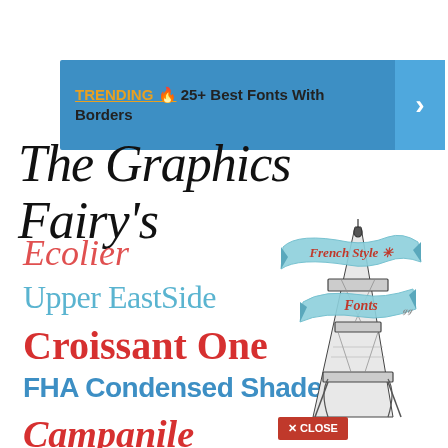TRENDING 🔥 25+ Best Fonts With Borders
The Graphics Fairy's
[Figure (infographic): French Style Fonts showcase with Eiffel Tower illustration and banner ribbon. Shows multiple font samples: Ecolier (red italic), Upper EastSide (teal), Croissant One (red bold), FHA Condensed Shaded (blue bold), Campanile (red italic), and CERAMICS (teal). Banner ribbon reads 'French Style Fonts'. Eiffel Tower sketch on right side.]
× CLOSE